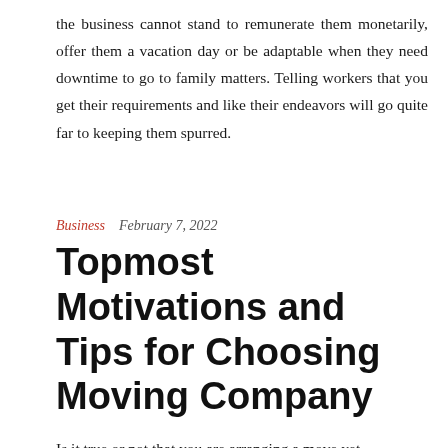the business cannot stand to remunerate them monetarily, offer them a vacation day or be adaptable when they need downtime to go to family matters. Telling workers that you get their requirements and like their endeavors will go quite far to keeping them spurred.
Business   February 7, 2022
Topmost Motivations and Tips for Choosing Moving Company
Is it true or not that you are arranging a move yet